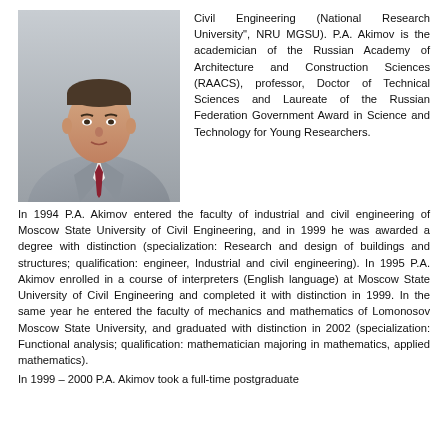[Figure (photo): Portrait photo of P.A. Akimov, a man in a grey suit with a dark red tie, against a neutral background.]
Civil Engineering (National Research University", NRU MGSU). P.A. Akimov is the academician of the Russian Academy of Architecture and Construction Sciences (RAACS), professor, Doctor of Technical Sciences and Laureate of the Russian Federation Government Award in Science and Technology for Young Researchers. In 1994 P.A. Akimov entered the faculty of industrial and civil engineering of Moscow State University of Civil Engineering, and in 1999 he was awarded a degree with distinction (specialization: Research and design of buildings and structures; qualification: engineer, Industrial and civil engineering). In 1995 P.A. Akimov enrolled in a course of interpreters (English language) at Moscow State University of Civil Engineering and completed it with distinction in 1999. In the same year he entered the faculty of mechanics and mathematics of Lomonosov Moscow State University, and graduated with distinction in 2002 (specialization: Functional analysis; qualification: mathematician majoring in mathematics, applied mathematics). In 1999 – 2000 P.A. Akimov took a full-time postgraduate